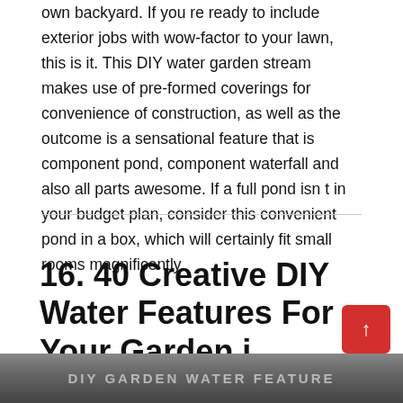own backyard. If you re ready to include exterior jobs with wow-factor to your lawn, this is it. This DIY water garden stream makes use of pre-formed coverings for convenience of construction, as well as the outcome is a sensational feature that is component pond, component waterfall and also all parts awesome. If a full pond isn t in your budget plan, consider this convenient pond in a box, which will certainly fit small rooms magnificently.
16. 40 Creative DIY Water Features For Your Garden i
[Figure (photo): Partially visible photo at the bottom of the page showing an outdoor scene with bare trees and what appears to be text overlay in a stylized font.]